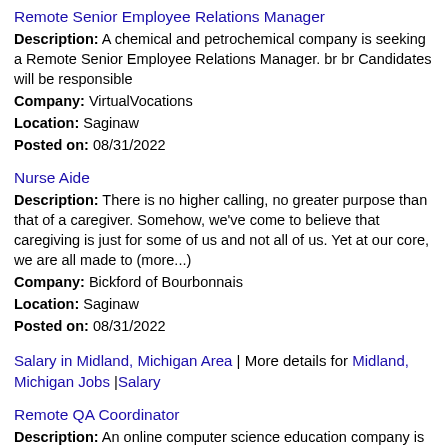Remote Senior Employee Relations Manager
Description: A chemical and petrochemical company is seeking a Remote Senior Employee Relations Manager. br br Candidates will be responsible
Company: VirtualVocations
Location: Saginaw
Posted on: 08/31/2022
Nurse Aide
Description: There is no higher calling, no greater purpose than that of a caregiver. Somehow, we've come to believe that caregiving is just for some of us and not all of us. Yet at our core, we are all made to (more...)
Company: Bickford of Bourbonnais
Location: Saginaw
Posted on: 08/31/2022
Salary in Midland, Michigan Area | More details for Midland, Michigan Jobs |Salary
Remote QA Coordinator
Description: An online computer science education company is in need of a Remote QA Coordinator. br br Individual must be able
Company: VirtualVocations